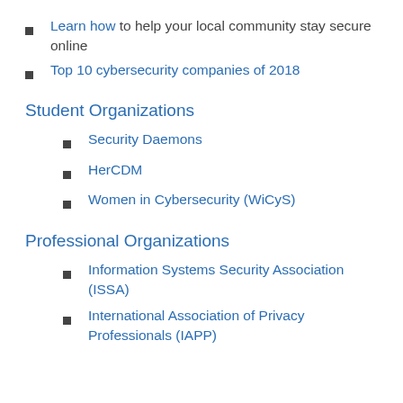Learn how to help your local community stay secure online
Top 10 cybersecurity companies of 2018
Student Organizations
Security Daemons
HerCDM
Women in Cybersecurity (WiCyS)
Professional Organizations
Information Systems Security Association (ISSA)
International Association of Privacy Professionals (IAPP)